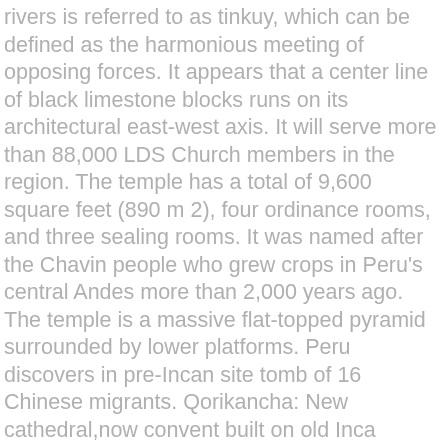rivers is referred to as tinkuy, which can be defined as the harmonious meeting of opposing forces. It appears that a center line of black limestone blocks runs on its architectural east-west axis. It will serve more than 88,000 LDS Church members in the region. The temple has a total of 9,600 square feet (890 m 2), four ordinance rooms, and three sealing rooms. It was named after the Chavin people who grew crops in Peru's central Andes more than 2,000 years ago. The temple is a massive flat-topped pyramid surrounded by lower platforms. Peru discovers in pre-Incan site tomb of 16 Chinese migrants. Qorikancha: New cathedral,now convent built on old Inca temple - See 7,429 traveler reviews, 4,416 candid photos, and great deals for Cusco, Peru, at Tripadvisor. They discovered 30 tunnels, as well as the graves of several people buried under rocks. The Temple recognizes that the overall integration process is as important as the healing guests receive during an ayahuasca retreat in Peru. We exist to be not only a place that you can come and learn about God ... Arequipa Peru Temple